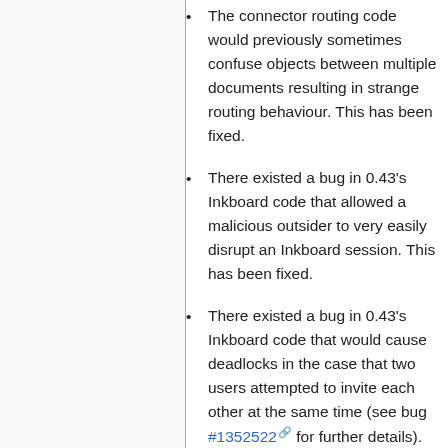The connector routing code would previously sometimes confuse objects between multiple documents resulting in strange routing behaviour. This has been fixed.
There existed a bug in 0.43's Inkboard code that allowed a malicious outsider to very easily disrupt an Inkboard session. This has been fixed.
There existed a bug in 0.43's Inkboard code that would cause deadlocks in the case that two users attempted to invite each other at the same time (see bug #1352522 for further details). This should be fixed, although the fix has not been widely tested.
There existed a bug in 0.43's